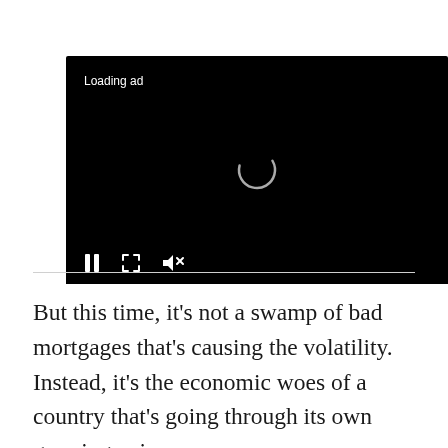[Figure (screenshot): Video player with black background showing a loading spinner, 'Loading ad' text in top-left, and playback controls (pause, fullscreen, mute) at the bottom.]
But this time, it’s not a swamp of bad mortgages that’s causing the volatility. Instead, it’s the economic woes of a country that’s going through its own growing pains.